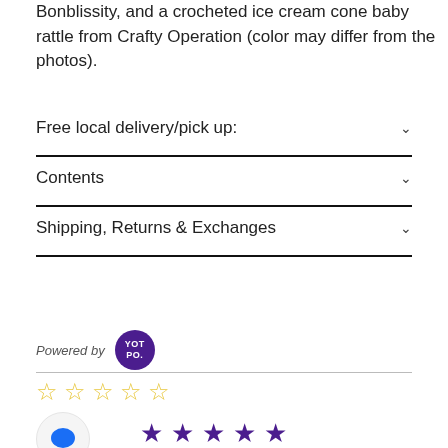Bonblissity, and a crocheted ice cream cone baby rattle from Crafty Operation (color may differ from the photos).
Free local delivery/pick up:
Contents
Shipping, Returns & Exchanges
[Figure (logo): Powered by YotPo logo badge - purple circle with YOT PO. text in white]
[Figure (other): Five empty star rating icons in yellow/gold outline]
[Figure (other): Chat bubble icon in blue inside a white circle]
[Figure (other): Five filled purple star rating icons]